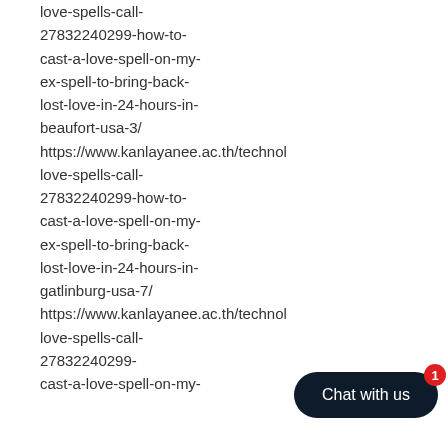love-spells-call-27832240299-how-to-cast-a-love-spell-on-my-ex-spell-to-bring-back-lost-love-in-24-hours-in-beaufort-usa-3/ https://www.kanlayanee.ac.th/technol love-spells-call-27832240299-how-to-cast-a-love-spell-on-my-ex-spell-to-bring-back-lost-love-in-24-hours-in-gatlinburg-usa-7/ https://www.kanlayanee.ac.th/technol love-spells-call-27832240299-cast-a-love-spell-on-my-
[Figure (other): Dark navy rounded pill-shaped chat button with white text 'Chat with us' and a red badge showing the number 1]